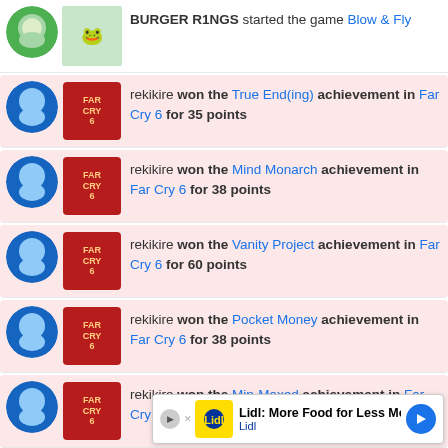BURGER R1NGS started the game Blow & Fly
rekikire won the True End(ing) achievement in Far Cry 6 for 35 points
rekikire won the Mind Monarch achievement in Far Cry 6 for 38 points
rekikire won the Vanity Project achievement in Far Cry 6 for 60 points
rekikire won the Pocket Money achievement in Far Cry 6 for 38 points
rekikire won the Min-Maxed achievement in Far Cry 6 for 53 points
rekikire won the Enlightened Monarch achievement in Far Cry 6 for 38 points
[Figure (infographic): Advertisement banner: Lidl: More Food for Less Money - Lidl]
rekikire won the [achievement] in Far Cry 6 for [points] (partially obscured by ad)